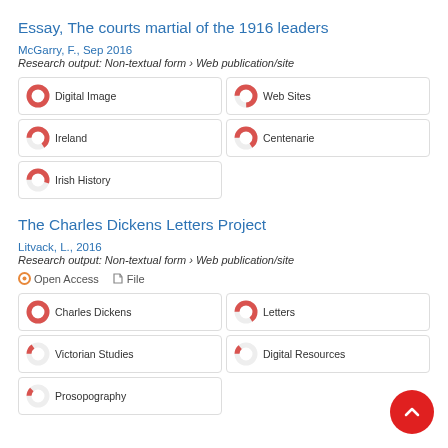Essay, The courts martial of the 1916 leaders
McGarry, F., Sep 2016
Research output: Non-textual form › Web publication/site
[Figure (infographic): Five keyword badges with donut chart icons: Digital Image (100%), Web Sites (~75%), Ireland (~65%), Centenarie (~65%), Irish History (~55%)]
The Charles Dickens Letters Project
Litvack, L., 2016
Research output: Non-textual form › Web publication/site
Open Access  File
[Figure (infographic): Five keyword badges with donut chart icons: Charles Dickens (100%), Letters (~65%), Victorian Studies (~15%), Digital Resources (~13%), Prosopography (~12%)]